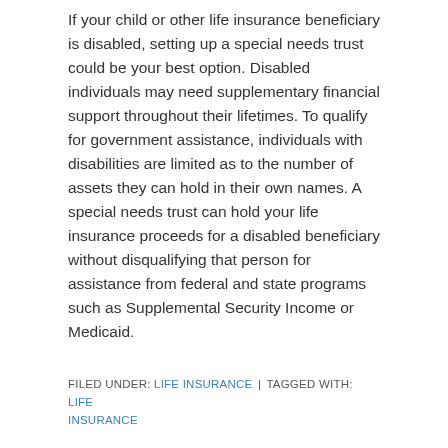If your child or other life insurance beneficiary is disabled, setting up a special needs trust could be your best option. Disabled individuals may need supplementary financial support throughout their lifetimes. To qualify for government assistance, individuals with disabilities are limited as to the number of assets they can hold in their own names. A special needs trust can hold your life insurance proceeds for a disabled beneficiary without disqualifying that person for assistance from federal and state programs such as Supplemental Security Income or Medicaid.
FILED UNDER: LIFE INSURANCE | TAGGED WITH: LIFE INSURANCE